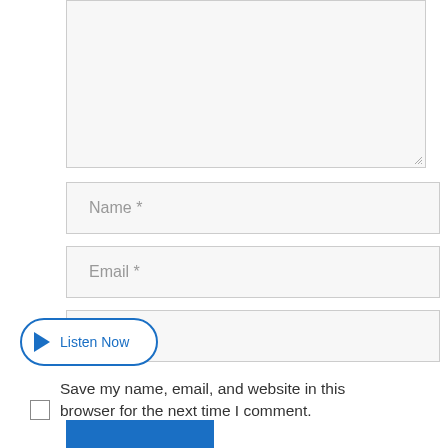[Figure (screenshot): A web comment form showing a large textarea (empty), Name input field with placeholder 'Name *', Email input field with placeholder 'Email *', a website input field area, a 'Listen Now' button with play icon and blue rounded border, a checkbox with label 'Save my name, email, and website in this browser for the next time I comment.', and a partially visible blue submit button at the bottom.]